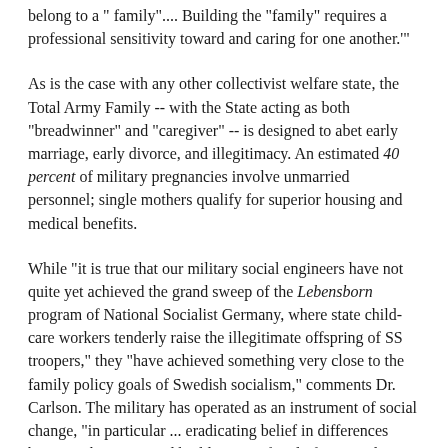...belong to a " family".... Building the "family" requires a professional sensitivity toward and caring for one another.'"
As is the case with any other collectivist welfare state, the Total Army Family -- with the State acting as both "breadwinner" and "caregiver" -- is designed to abet early marriage, early divorce, and illegitimacy. An estimated 40 percent of military pregnancies involve unmarried personnel; single mothers qualify for superior housing and medical benefits.
While "it is true that our military social engineers have not quite yet achieved the grand sweep of the Lebensborn program of National Socialist Germany, where state child-care workers tenderly raise the illegitimate offspring of SS troopers," they "have achieved something very close to the family policy goals of Swedish socialism," comments Dr. Carlson. The military has operated as an instrument of social change, "in particular ... eradicating belief in differences between the sexes, and building new family forms under complete control of the state."